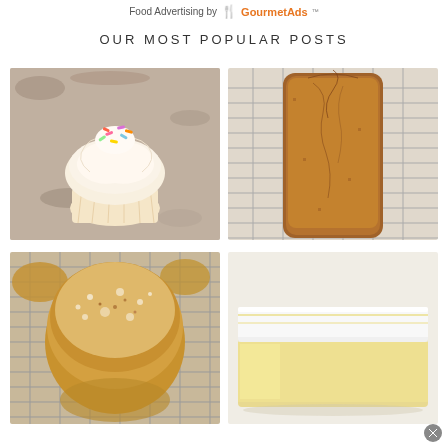Food Advertising by GourmetAds
OUR MOST POPULAR POSTS
[Figure (photo): Vanilla cupcake with white cream frosting and colorful sprinkles on a granite countertop]
[Figure (photo): Close-up of a baked loaf of bread with browned crust on a cooling wire rack]
[Figure (photo): Cinnamon sugar muffin dusted with powdered sugar on a wire cooling rack with other muffins]
[Figure (photo): Square bar or cake with thick white cream cheese frosting on a light background]